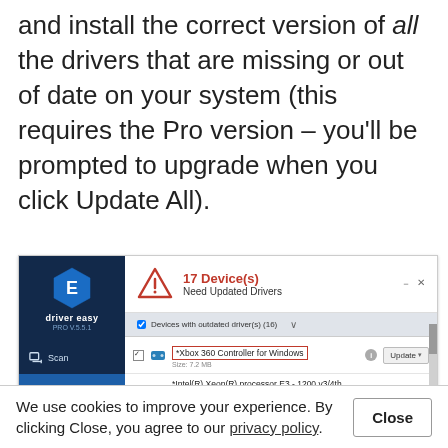and install the correct version of all the drivers that are missing or out of date on your system (this requires the Pro version – you'll be prompted to upgrade when you click Update All).
[Figure (screenshot): Driver Easy PRO v5.5.1 application screenshot showing 17 Device(s) Need Updated Drivers, with a list including Xbox 360 Controller for Windows and Intel(R) Xeon(R) processor entries with Update buttons]
We use cookies to improve your experience. By clicking Close, you agree to our privacy policy.